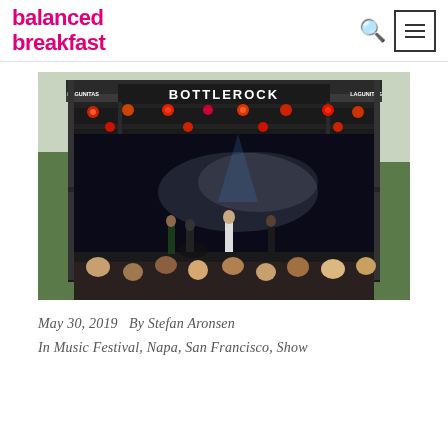balanced Breakfast
[Figure (photo): A band performing on the BottleRock festival stage. The large outdoor stage has a banner reading 'BOTTLEROCK' with 'LAGUNITAS' branding on the right and 'LAGUNITAS' on the left. Stage lighting rigs are visible above. The band members are on stage performing while an audience watches from below.]
May 30, 2019   By Stefan Aronsen
In Music Festival, Napa, San Francisco, Show